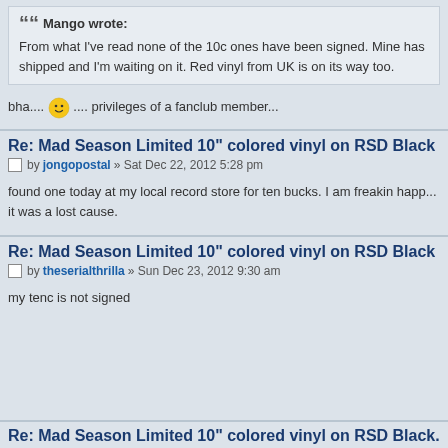Mango wrote: From what I've read none of the 10c ones have been signed. Mine has shipped and I'm waiting on it. Red vinyl from UK is on its way too.
bha.... .... privileges of a fanclub member...
Re: Mad Season Limited 10" colored vinyl on RSD Black Fr...
by jongopostal » Sat Dec 22, 2012 5:28 pm
found one today at my local record store for ten bucks. I am freakin happ... it was a lost cause.
Re: Mad Season Limited 10" colored vinyl on RSD Black Fr...
by theserialthrilla » Sun Dec 23, 2012 9:30 am
my tenc is not signed
Re: Mad Season Limited 10" colored vinyl on RSD Black...